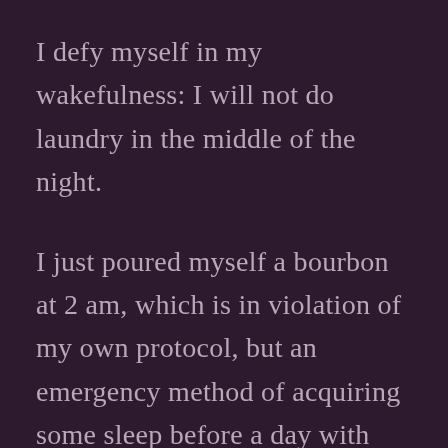I defy myself in my wakefulness: I will not do laundry in the middle of the night.
I just poured myself a bourbon at 2 am, which is in violation of my own protocol, but an emergency method of acquiring some sleep before a day with many tasks.
Even in the depths of the night, the sky here is brighter than the trees, and the abstract pattern of their leaves against the